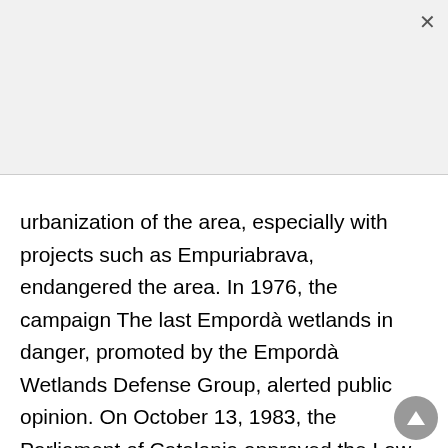urbanization of the area, especially with projects such as Empuriabrava, endangered the area. In 1976, the campaign The last Empordà wetlands in danger, promoted by the Empordà Wetlands Defense Group, alerted public opinion. On October 13, 1983, the Parliament of Catalonia approved the Law on the declaration of natural places of national interest and integral reserves, and the wetlands of the Alt Empordà were protected. They have subsequently been reclassified as a Natural Park. The wetlands of the Baix Empordà, excluded from the law of1983, are protected by the Plan of Areas